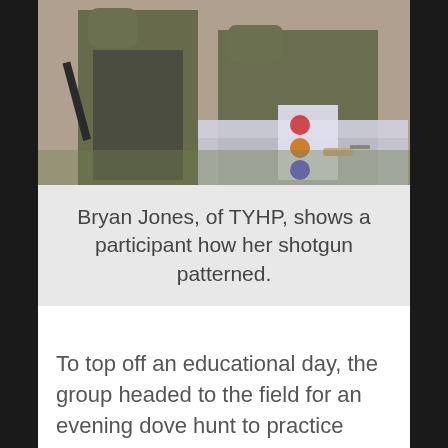[Figure (photo): Two people in camouflage clothing outdoors. One person on the left holds a shotgun. The person on the right is leaning over a surface examining a shotgun pattern target, with sticker-marked targets visible.]
Bryan Jones, of TYHP, shows a participant how her shotgun patterned.
To top off an educational day, the group headed to the field for an evening dove hunt to practice their new-found skills. Those who did not participate in the hunting portion were able to hone their shooting skills with more clay targets or a laser simulator game. Although no doves